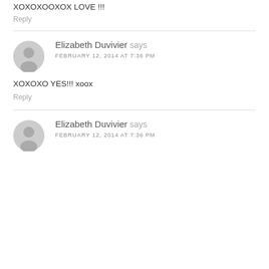XOXOXOOXOX LOVE !!!
Reply
Elizabeth Duvivier says
FEBRUARY 12, 2014 AT 7:36 PM
XOXOXO YES!!! xoox
Reply
Elizabeth Duvivier says
FEBRUARY 12, 2014 AT 7:36 PM